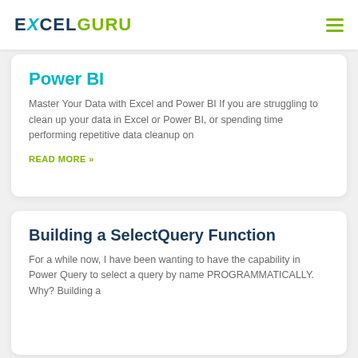EXCELGURU
Power BI
Master Your Data with Excel and Power BI If you are struggling to clean up your data in Excel or Power BI, or spending time performing repetitive data cleanup on
READ MORE »
Building a SelectQuery Function
For a while now, I have been wanting to have the capability in Power Query to select a query by name PROGRAMMATICALLY. Why? Building a